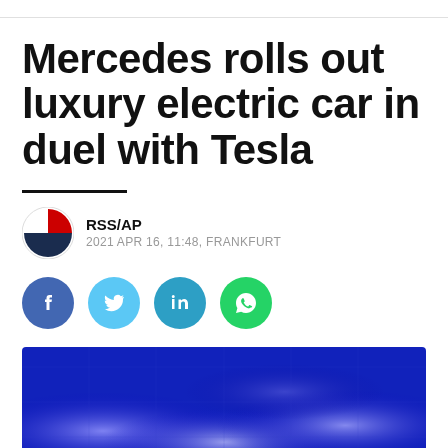Mercedes rolls out luxury electric car in duel with Tesla
RSS/AP
2021 APR 16, 11:48, FRANKFURT
[Figure (other): Social sharing buttons: Facebook, Twitter, LinkedIn, WhatsApp]
[Figure (photo): Blue-toned abstract/automotive photo with glowing light patterns on dark blue background]